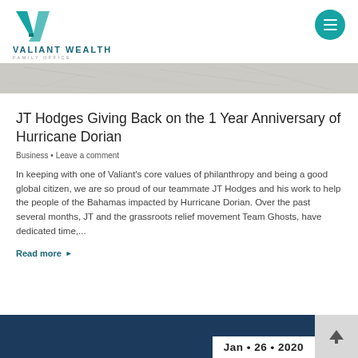VALIANT WEALTH FAMILY OFFICE
[Figure (photo): Grey stone/rock texture banner image]
JT Hodges Giving Back on the 1 Year Anniversary of Hurricane Dorian
Business • Leave a comment
In keeping with one of Valiant's core values of philanthropy and being a good global citizen, we are so proud of our teammate JT Hodges and his work to help the people of the Bahamas impacted by Hurricane Dorian. Over the past several months, JT and the grassroots relief movement Team Ghosts, have dedicated time,...
Read more ▶
[Figure (photo): Dark navy blue background strip at bottom with date box showing Jan • 26 • 2020]